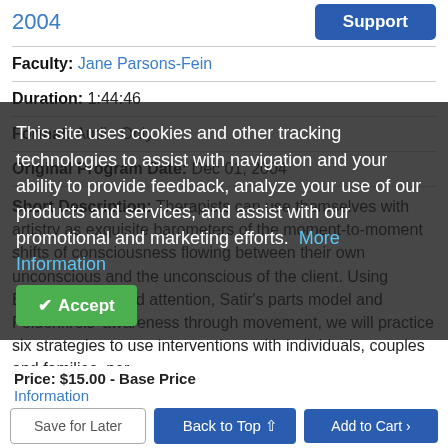2004
Faculty: Jane Parsons-Fein
Duration: 1:44:46
Format: Audio Only
Original Program Date: Dec 01, 2004
Short Description: Therapists can use themselves with artistry as exquisite barometers of the moment-to-moment shifts of consciousness flowing between their own unconscious and the unconscious of the client. Using Erickson's focused attention, Satir's parts model and Feldenkreis' awareness through movement, we will practice six strategies to use interventions with individuals, couples and families, per Perchillan.
This site uses cookies and other tracking technologies to assist with navigation and your ability to provide feedback, analyze your use of our products and services, and assist with our promotional and marketing efforts. More Information
Price: $15.00 - Base Price
Back to Top
Save for Later
Add to Cart